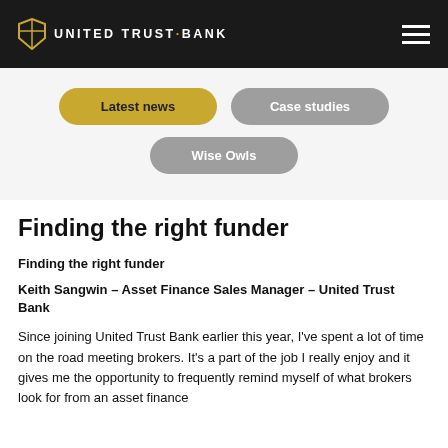United Trust Bank
Latest news | Case studies | Wise Owls
Finding the right funder
Finding the right funder
Keith Sangwin – Asset Finance Sales Manager – United Trust Bank
Since joining United Trust Bank earlier this year, I've spent a lot of time on the road meeting brokers. It's a part of the job I really enjoy and it gives me the opportunity to frequently remind myself of what brokers look for from an asset finance